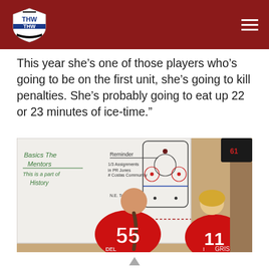THW Hockey Writers logo header
This year she’s one of those players who’s going to be on the first unit, she’s going to kill penalties. She’s probably going to eat up 22 or 23 minutes of ice-time.”
[Figure (photo): Two female hockey players wearing red jerseys (number 55 visible) standing in front of a whiteboard with hockey diagrams and notes written on it.]